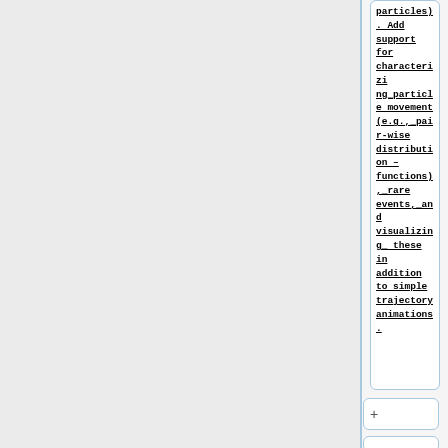particles). Add support for characterizing_particle movement (e.g., pair-wise distribution – functions), rare events, and visualizing these in addition to simple trajectory animations.
+